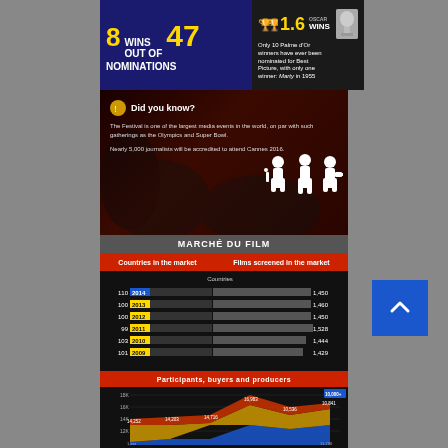8 WINS OUT OF 47 NOMINATIONS
1.6 OSCAR WINS — Only 10 Palme d'Or winners have ever been nominated for Best Picture, with only one winner: Marty in 1955
[Figure (infographic): Did you know? section with photographers silhouette background. Text: The Festival is one of the largest media events in the world, on par with such gatherings as the Olympics and Super Bowl. Nearly 5,000 journalists will be accredited to attend Cannes 2016.]
MARCHÉ DU FILM
Countries in the market | Films screened in the market
[Figure (bar-chart): Marché du Film - Countries and Films by Year]
Participants, buyers and producers
[Figure (area-chart): Participants, buyers and producers over years]